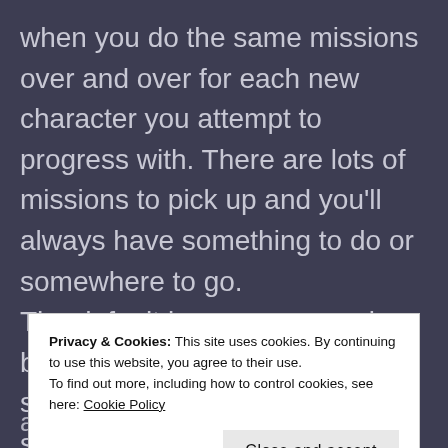when you do the same missions over and over for each new character you attempt to progress with. There are lots of missions to pick up and you'll always have something to do or somewhere to go. The default ingame camera is a behind the character view, swapping to an over the shoulder view when zoomed in.
Privacy & Cookies: This site uses cookies. By continuing to use this website, you agree to their use. To find out more, including how to control cookies, see here: Cookie Policy
Close and accept
...